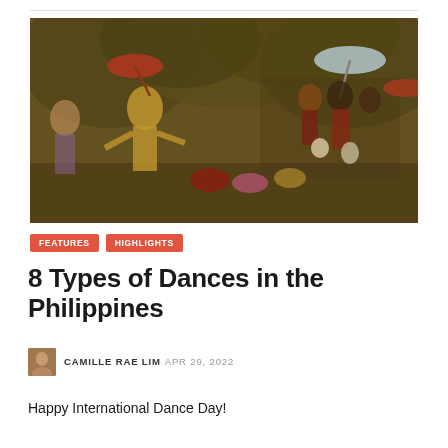[Figure (photo): Group of Filipino dancers in traditional colorful costumes performing outdoors with trees in the background. A female dancer in gold costume is featured prominently on the left, with a group of performers in elaborate traditional attire including umbrellas on the right.]
FEATURES   HIGHLIGHTS
8 Types of Dances in the Philippines
CAMILLE RAE LIM  APR 29, 2022
Happy International Dance Day!